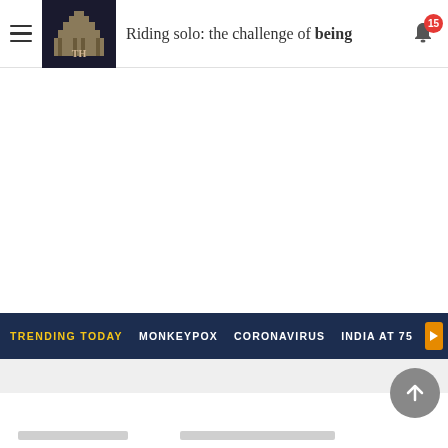Riding solo: the challenge of being
TRENDING TODAY   MONKEYPOX   CORONAVIRUS   INDIA AT 75